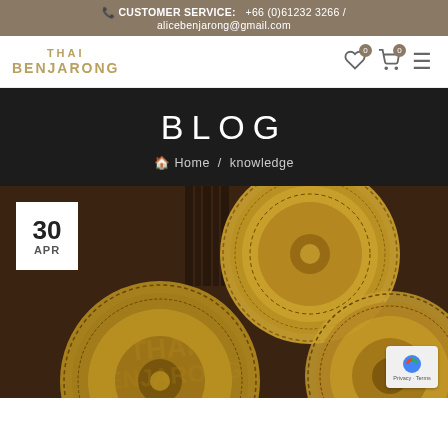CUSTOMER SERVICE: +66 (0)61232 3266 / alicebenjarong@gmail.com
[Figure (logo): Thai Benjarong logo in gold/tan text]
BLOG
Home / knowledge
[Figure (photo): Three ornate Thai Benjarong ceramic plates with gold mosaic patterns displayed on a wooden surface. A white date badge shows '30 APR' in the top-left corner.]